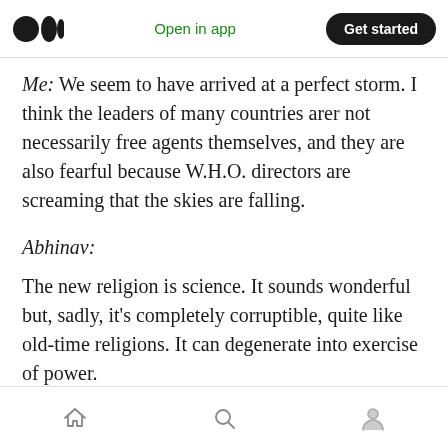Medium app header: logo, Open in app, Get started
Me: We seem to have arrived at a perfect storm. I think the leaders of many countries arer not necessarily free agents themselves, and they are also fearful because W.H.O. directors are screaming that the skies are falling.
Abhinav:
The new religion is science. It sounds wonderful but, sadly, it's completely corruptible, quite like old-time religions. It can degenerate into exercise of power.
Bottom navigation bar with home, search, and profile icons